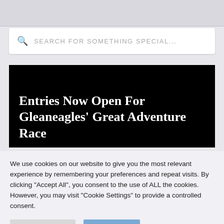SEARCH FOR SOMETHING SPECIAL...
Entries Now Open For Gleaneagles' Great Adventure Race
We use cookies on our website to give you the most relevant experience by remembering your preferences and repeat visits. By clicking "Accept All", you consent to the use of ALL the cookies. However, you may visit "Cookie Settings" to provide a controlled consent.
Cookie Settings
Accept All